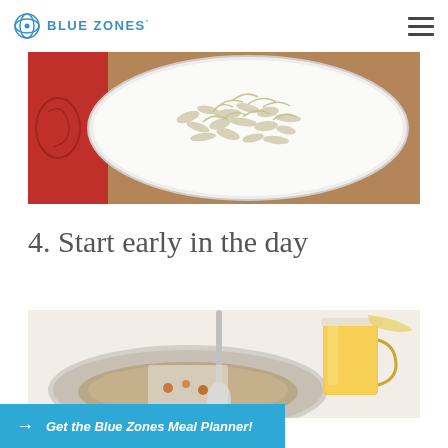BLUE ZONES'
[Figure (photo): Close-up of a white bowl with rice and bean sprouts on a red decorative tablecloth]
4. Start early in the day
[Figure (photo): Breakfast scene with a bowl of oatmeal or porridge, a spoon, and a glass of orange juice on a white surface]
Get the Blue Zones Meal Planner!